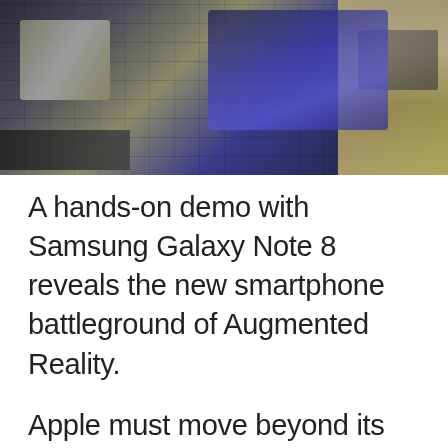[Figure (photo): A photo taken from above showing a Samsung electronics store display area with devices on counters, blue LED lighting, and yellow/gold flooring visible]
A hands-on demo with Samsung Galaxy Note 8 reveals the new smartphone battleground of Augmented Reality.
Apple must move beyond its iPhone portfolio with other AR-based products that can establish a long-term supercycle of growth.